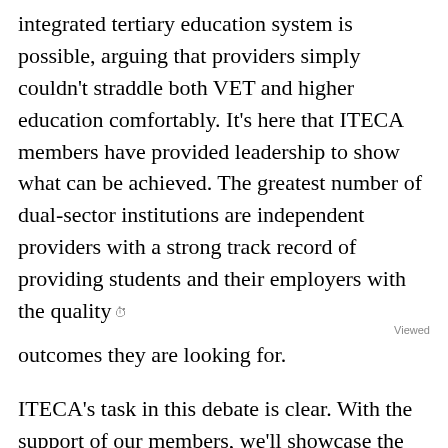integrated tertiary education system is possible, arguing that providers simply couldn't straddle both VET and higher education comfortably. It's here that ITECA members have provided leadership to show what can be achieved. The greatest number of dual-sector institutions are independent providers with a strong track record of providing students and their employers with the quality outcomes they are looking for.
ITECA's task in this debate is clear. With the support of our members, we'll showcase the excellence of independent providers and the exceptional students that graduate from the system. Importantly, using the experience of our members we'll advocate for the reforms that will reduce the red tape that plagues the system.
As the Prime Minister said, VET is as good as uni, and it's ITECA's members in both the VET and higher education